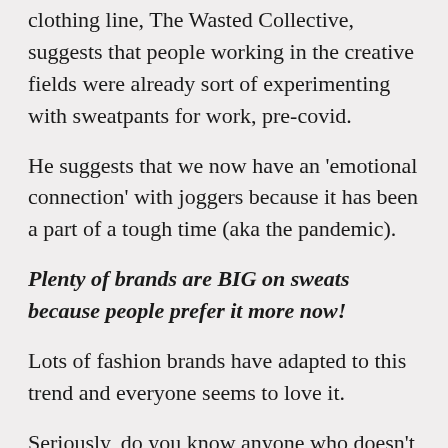clothing line, The Wasted Collective, suggests that people working in the creative fields were already sort of experimenting with sweatpants for work, pre-covid.
He suggests that we now have an 'emotional connection' with joggers because it has been a part of a tough time (aka the pandemic).
Plenty of brands are BIG on sweats because people prefer it more now!
Lots of fashion brands have adapted to this trend and everyone seems to love it.
Seriously, do you know anyone who doesn't prefer showing up to work in sweats?
There are so many ways to style it and look chic. It has redefined 'business casual' altogether!